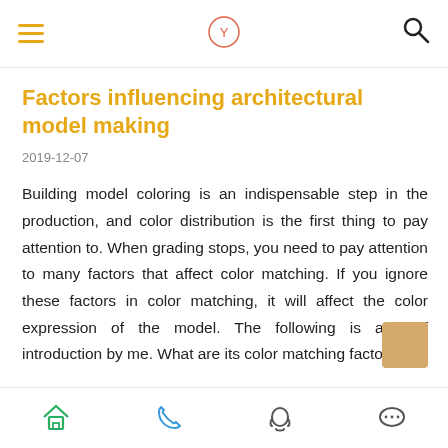≡  [logo]  🔍
Factors influencing architectural model making
2019-12-07
Building model coloring is an indispensable step in the production, and color distribution is the first thing to pay attention to. When grading stops, you need to pay attention to many factors that affect color matching. If you ignore these factors in color matching, it will affect the color expression of the model. The following is a brief introduction by me. What are its color matching factors?
[home] [phone] [QQ] [chat]